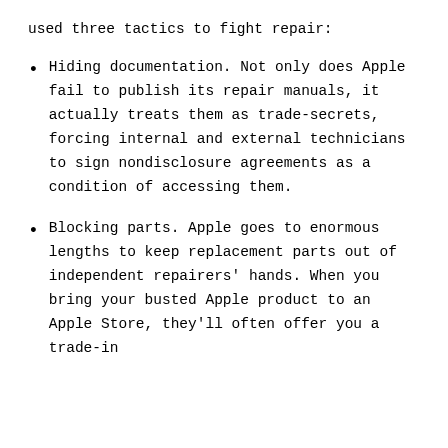used three tactics to fight repair:
Hiding documentation. Not only does Apple fail to publish its repair manuals, it actually treats them as trade-secrets, forcing internal and external technicians to sign nondisclosure agreements as a condition of accessing them.
Blocking parts. Apple goes to enormous lengths to keep replacement parts out of independent repairers' hands. When you bring your busted Apple product to an Apple Store, they'll often offer you a trade-in